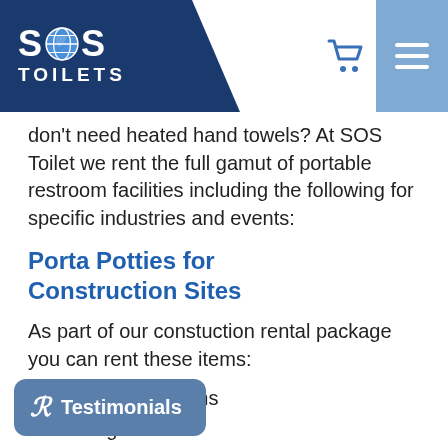SOS TOILETS
don't need heated hand towels? At SOS Toilet we rent the full gamut of portable restroom facilities including the following for specific industries and events:
Porta Potties for Construction Sites
As part of our constuction rental package you can rent these items:
Portable restrooms
Holding tanks
Temporary fencing
boxes
rary fence panels
Testimonials